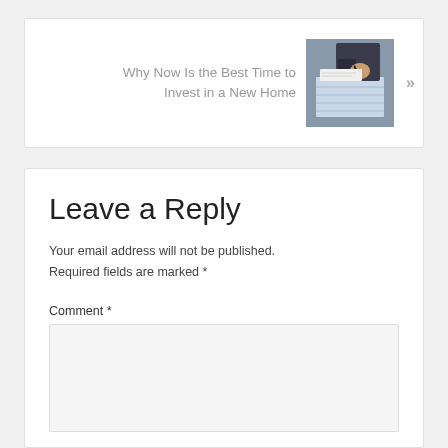[Figure (other): Navigation card with text 'Why Now Is the Best Time to Invest in a New Home' in gray, a thumbnail photo of a person writing/signing a document, and a right-arrow chevron (»)]
Leave a Reply
Your email address will not be published. Required fields are marked *
Comment *